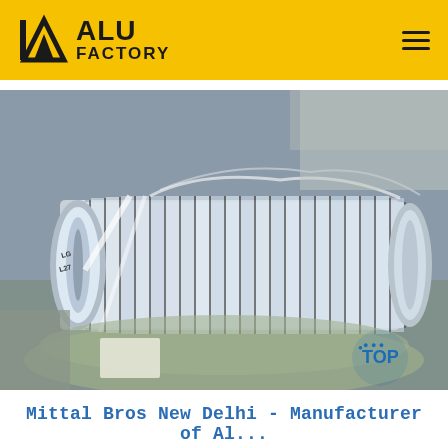ALU FACTORY
[Figure (photo): Photo of aluminum strip coils (slit coils) stacked horizontally on a floor in a factory/warehouse setting. The coils are shiny silver metallic, tightly wound with visible separating strips, arranged in a cylindrical form. Some plastic wrapping is visible around them.]
Mittal Bros New Delhi - Manufacturer of Al...